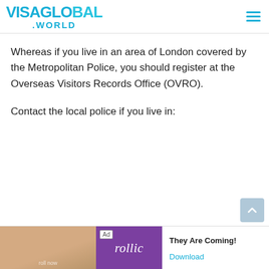VISAGLOBAL.WORLD
Whereas if you live in an area of London covered by the Metropolitan Police, you should register at the Overseas Visitors Records Office (OVRO).
Contact the local police if you live in:
[Figure (other): Advertisement banner at bottom of page showing a Rollic game ad with text 'They Are Coming!' and a Download link]